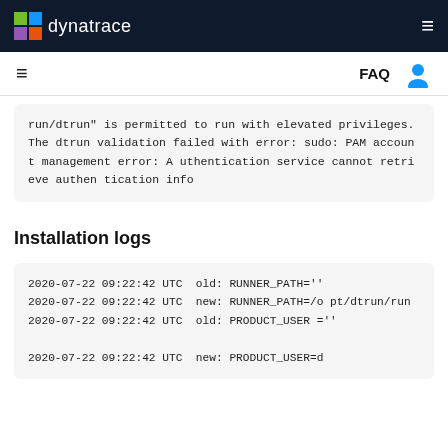dynatrace [logo] [hamburger menu]
[hamburger] FAQ [user icon]
run/dtrun" is permitted to run with elevated privileges. The dtrun validation failed with error: sudo: PAM account management error: Authentication service cannot retrieve authentication info
Installation logs
2020-07-22 09:22:42 UTC  old: RUNNER_PATH=''
2020-07-22 09:22:42 UTC  new: RUNNER_PATH=/opt/dtrun/run
2020-07-22 09:22:42 UTC  old: PRODUCT_USER=''
2020-07-22 09:22:42 UTC  new: PRODUCT_USER=d